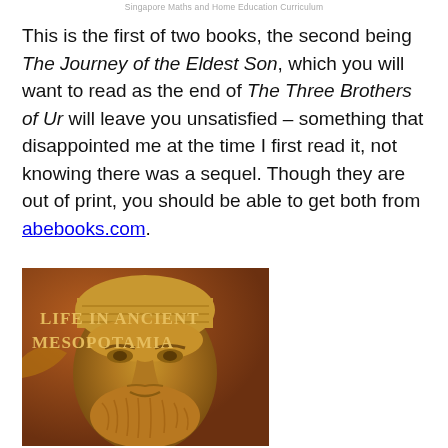Singapore Maths and Home Education Curriculum
This is the first of two books, the second being The Journey of the Eldest Son, which you will want to read as the end of The Three Brothers of Ur will leave you unsatisfied – something that disappointed me at the time I first read it, not knowing there was a sequel. Though they are out of print, you should be able to get both from abebooks.com.
[Figure (photo): Book cover of 'Life in Ancient Mesopotamia' showing a close-up photograph of an ancient Mesopotamian sculpture — a golden/bronze face of a bearded figure wearing a headdress, with the title text overlaid.]